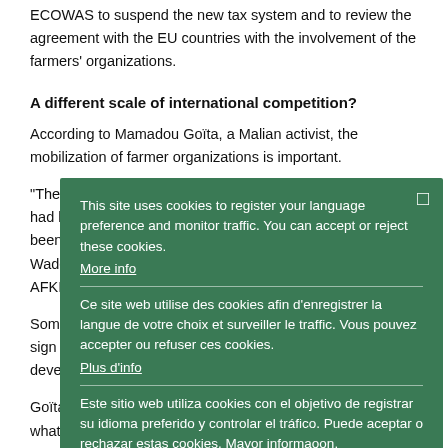ECOWAS to suspend the new tax system and to review the agreement with the EU countries with the involvement of the farmers' organizations.
A different scale of international competition?
According to Mamadou Goïta, a Malian activist, the mobilization of farmer organizations is important.
"The agreement could have been signed years before, but it had been delayed by civil society organizations, which has been supported by farmer Senegal fatimant Abdoulaye Wade. The pact was to end the process in 2007," he told AFKInsider.
Some activists say the ACP countries have been obliged to sign the agreement in order to benefit money for the developement of their countries.
Goïta also said the European Union is imposing to Africa what
This site uses cookies to register your language preference and monitor traffic. You can accept or reject these cookies. More info

Ce site web utilise des cookies afin d'enregistrer la langue de votre choix et surveiller le traffic. Vous pouvez accepter ou refuser ces cookies. Plus d'info

Este sitio web utiliza cookies con el objetivo de registrar su idioma preferido y controlar el tráfico. Puede aceptar o rechazar estas cookies. Mayor informaoon.

Ok